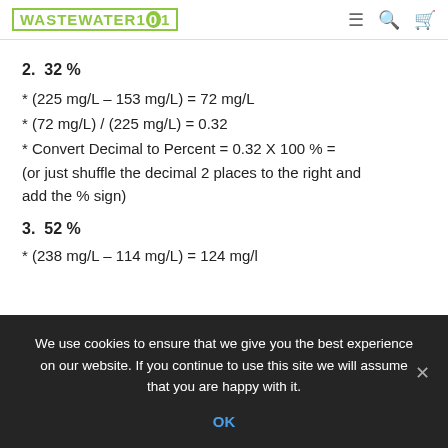WASTEWATER101
2.  32 %
* (225 mg/L – 153 mg/L) = 72 mg/L
* (72 mg/L) / (225 mg/L) = 0.32
* Convert Decimal to Percent = 0.32 X 100 % = (or just shuffle the decimal 2 places to the right and add the % sign)
3.  52 %
* (238 mg/L – 114 mg/L) = 124 mg/L
We use cookies to ensure that we give you the best experience on our website. If you continue to use this site we will assume that you are happy with it.